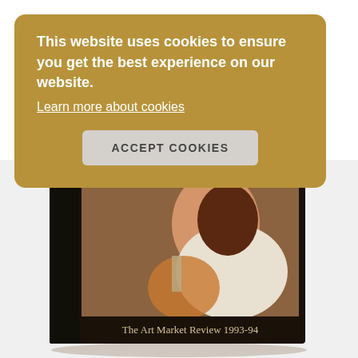This website uses cookies to ensure you get the best experience on our website.
Learn more about cookies
ACCEPT COOKIES
[Figure (photo): A book titled 'The Art Market Review 1993-94' (also branded as 'Art Auction') standing upright. The cover features a classical painting detail of a figure drinking from a glass vessel, head tilted back, wearing a white garment.]